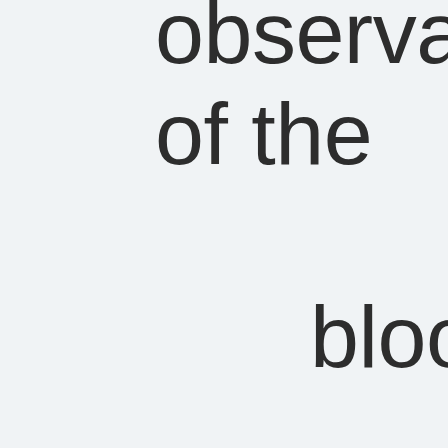observations of the bloom dates of